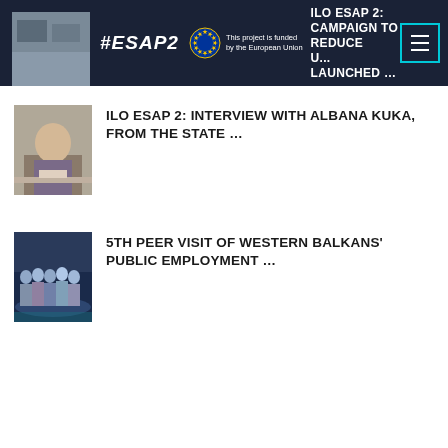#ESAP2 | ILO ESAP 2: CAMPAIGN TO REDUCE U... LAUNCHED ... | This project is funded by the European Union
ILO ESAP 2: INTERVIEW WITH ALBANA KUKA, FROM THE STATE ...
5TH PEER VISIT OF WESTERN BALKANS' PUBLIC EMPLOYMENT ...